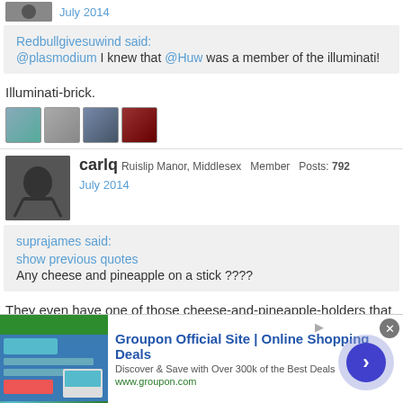July 2014
Redbullgivesuwind said: @plasmodium I knew that @Huw was a member of the illuminati!
Illuminati-brick.
[Figure (photo): Four thumbs-up like button images in a row]
carlq Ruislip Manor, Middlesex Member Posts: 792 July 2014
suprajames said: show previous quotes Any cheese and pineapple on a stick ????
They even have one of those cheese-and-pineapple-holders that looks like a hedgehog. Truth. :-P
[Figure (photo): Two small avatar images at bottom]
Groupon Official Site | Online Shopping Deals Discover & Save with Over 300k of the Best Deals www.groupon.com